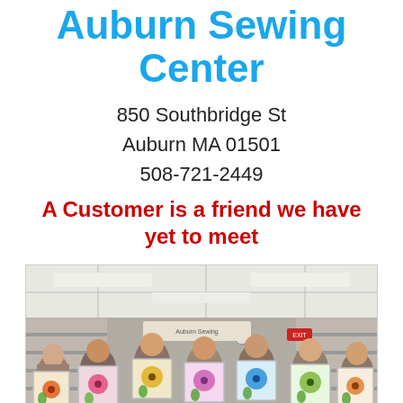Auburn Sewing Center
850 Southbridge St
Auburn MA 01501
508-721-2449
A Customer is a friend we have yet to meet
[Figure (photo): Group photo of women inside the Auburn Sewing Center store, holding up colorful floral quilted panels/blocks they made, standing in front of shelving and sewing supplies.]